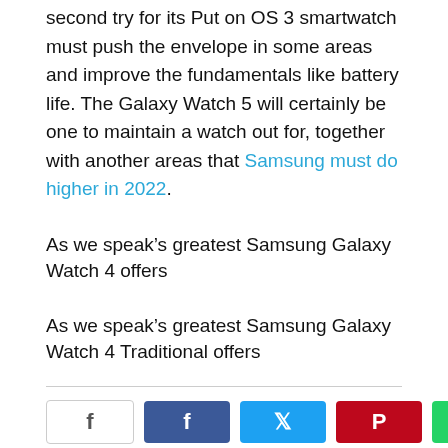second try for its Put on OS 3 smartwatch must push the envelope in some areas and improve the fundamentals like battery life. The Galaxy Watch 5 will certainly be one to maintain a watch out for, together with another areas that Samsung must do higher in 2022.
As we speak’s greatest Samsung Galaxy Watch 4 offers
As we speak’s greatest Samsung Galaxy Watch 4 Traditional offers